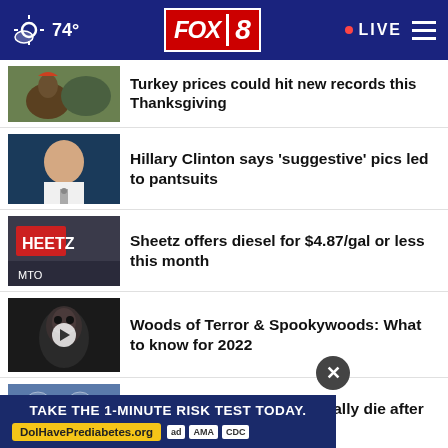FOX 8 | 74° | LIVE
Turkey prices could hit new records this Thanksgiving
Hillary Clinton says 'suggestive' pics led to pantsuits
Sheetz offers diesel for $4.87/gal or less this month
Woods of Terror & Spookywoods: What to know for 2022
Most human embryos naturally die after conception …
Several taken to hospital after
These are the 10 best states to retire in
TAKE THE 1-MINUTE RISK TEST TODAY.
DolHavePrediabetes.org